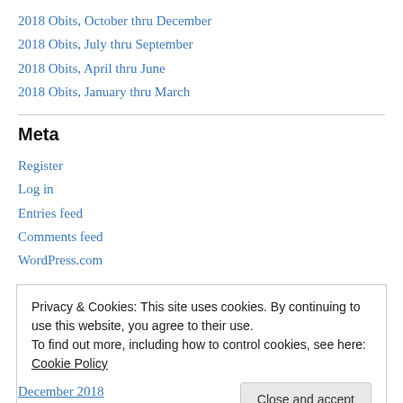2018 Obits, October thru December
2018 Obits, July thru September
2018 Obits, April thru June
2018 Obits, January thru March
Meta
Register
Log in
Entries feed
Comments feed
WordPress.com
Privacy & Cookies: This site uses cookies. By continuing to use this website, you agree to their use.
To find out more, including how to control cookies, see here: Cookie Policy
December 2018